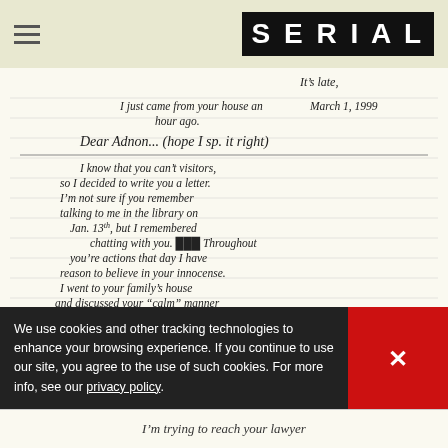SERIAL (logo/header bar)
[Figure (photo): Handwritten letter dated March 1, 1999 addressed to 'Dear Adnon... (hope I sp. it right)' beginning 'It's late, I just came from your house an hour ago. I know that you can't visitors, so I decided to write you a letter. I'm not sure if you remember talking to me in the library on Jan. 13th, but I remembered chatting with you. Throughout you're actions that day I have reason to believe in your innocense. I went to your family's house and discussed your "calm" manner towards them. I also called the Woodlawn Public Library and found that they have a surveilance system inside the building. Depending on ...' (partial, cut off by cookie banner)]
We use cookies and other tracking technologies to enhance your browsing experience. If you continue to use our site, you agree to the use of such cookies. For more info, see our privacy policy.
I'm trying to reach your lawyer